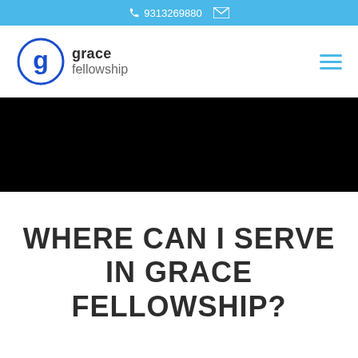9313269880
[Figure (logo): Grace Fellowship church logo — circular 'g' icon in blue with text 'grace fellowship']
WHERE CAN I SERVE IN GRACE FELLOWSHIP?